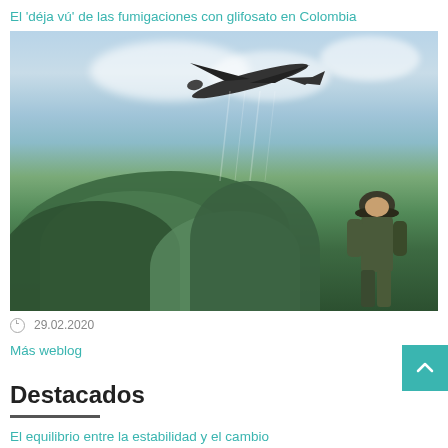El 'déja vú' de las fumigaciones con glifosato en Colombia
[Figure (photo): Aerial fumigation photo: A small plane flies low over coca plants while a soldier in a helmet stands in the foreground amid dense green vegetation, cloudy blue sky in background.]
29.02.2020
Más weblog
Destacados
El equilibrio entre la estabilidad y el cambio